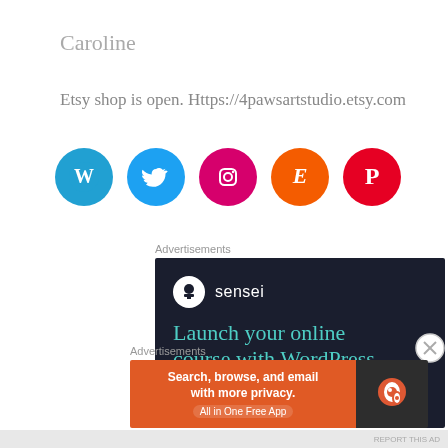Caroline
Etsy shop is open. Https://4pawsartstudio.etsy.com
[Figure (illustration): Five social media icon circles in a row: WordPress (blue), Twitter (light blue), Instagram (pink/magenta), Etsy (orange), Pinterest (red)]
Advertisements
[Figure (screenshot): Sensei advertisement banner with dark background showing 'sensei' logo and text 'Launch your online course with WordPress' in teal/cyan color]
Advertisements
[Figure (screenshot): DuckDuckGo advertisement: orange section with text 'Search, browse, and email with more privacy. All in One Free App' and dark section with DuckDuckGo logo]